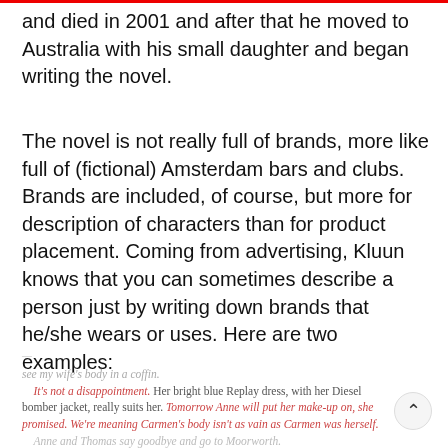and died in 2001 and after that he moved to Australia with his small daughter and began writing the novel.
The novel is not really full of brands, more like full of (fictional) Amsterdam bars and clubs. Brands are included, of course, but more for description of characters than for product placement. Coming from advertising, Kluun knows that you can sometimes describe a person just by writing down brands that he/she wears or uses. Here are two examples:
see my wife's body in a coffin. It's not a disappointment. Her bright blue Replay dress, with her Diesel bomber jacket, really suits her. Tomorrow Anne will put her make-up on, she promised. We're meaning Carmen's body isn't as vain as Carmen was herself. Anne and Thomas say goodbye and go to Moorworth...